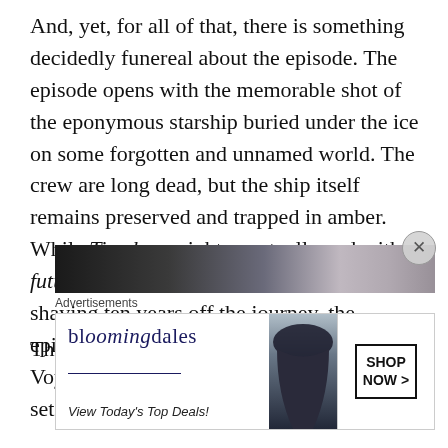And, yet, for all of that, there is something decidedly funereal about the episode. The episode opens with the memorable shot of the eponymous starship buried under the ice on some forgotten and unnamed world. The crew are long dead, but the ship itself remains preserved and trapped in amber. While Timeless might eventually end with future!Kim changing the timeline and shaving ten years off the journey, the episode's most iconic images are destructive: Voyager crashing and bouncing, the familiar sets encased in ice.
This is not a birthday party, it is a wake.
[Figure (photo): A dark photo strip showing a partial view of people or a scene, cropped at top of advertisement area]
Advertisements
[Figure (other): Bloomingdale's advertisement banner showing logo, 'View Today's Top Deals!' tagline, a model in a hat, and 'SHOP NOW >' button]